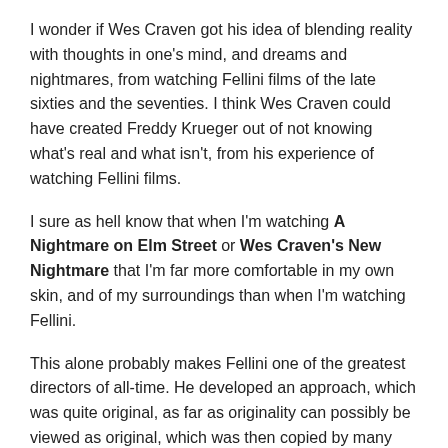I wonder if Wes Craven got his idea of blending reality with thoughts in one's mind, and dreams and nightmares, from watching Fellini films of the late sixties and the seventies. I think Wes Craven could have created Freddy Krueger out of not knowing what's real and what isn't, from his experience of watching Fellini films.
I sure as hell know that when I'm watching A Nightmare on Elm Street or Wes Craven's New Nightmare that I'm far more comfortable in my own skin, and of my surroundings than when I'm watching Fellini.
This alone probably makes Fellini one of the greatest directors of all-time. He developed an approach, which was quite original, as far as originality can possibly be viewed as original, which was then copied by many other people: